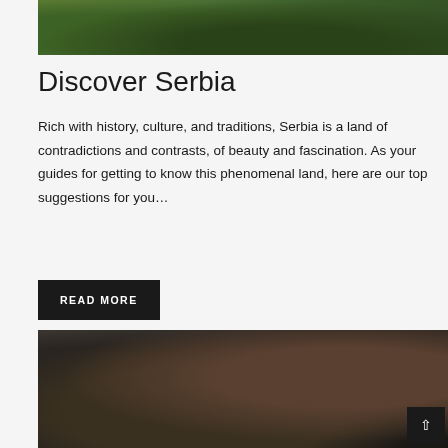[Figure (photo): Aerial or wide-angle landscape view of green hilly terrain with dark forest in Serbia]
Discover Serbia
Rich with history, culture, and traditions, Serbia is a land of contradictions and contrasts, of beauty and fascination. As your guides for getting to know this phenomenal land, here are our top suggestions for you…
READ MORE
[Figure (photo): Dark dramatic scene depicting medieval warriors or knights in battle, rendered in painterly style]